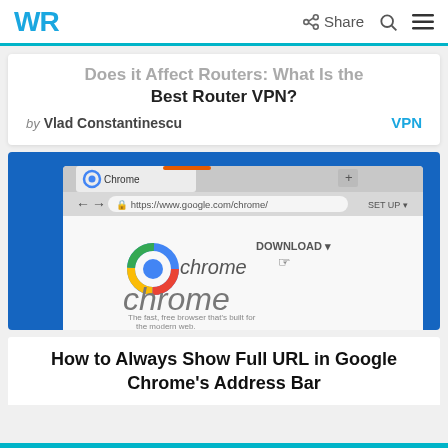WR | Share
Best Router VPN?
by Vlad Constantinescu  VPN
[Figure (screenshot): Screenshot of Google Chrome browser window showing the Chrome homepage at https://www.google.com/chrome/ with the Chrome logo, DOWNLOAD button, and tagline 'The fast, free browser that's built for the modern web.']
How to Always Show Full URL in Google Chrome's Address Bar